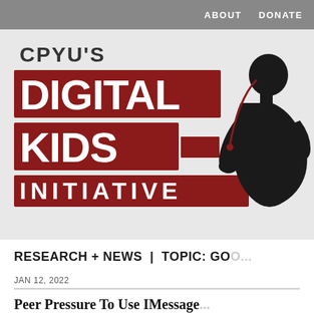ABOUT   DONATE
[Figure (logo): CPYU's Digital Kids Initiative logo with large red distressed text blocks reading DIGITAL KIDS on dark red rectangles, with CPYU'S above and INITIATIVE below in bold caps. A black silhouette of a hunched figure using a device appears to the right.]
RESEARCH + NEWS | TOPIC: GO...
JAN 12, 2022
Peer Pressure To Use IMessage...